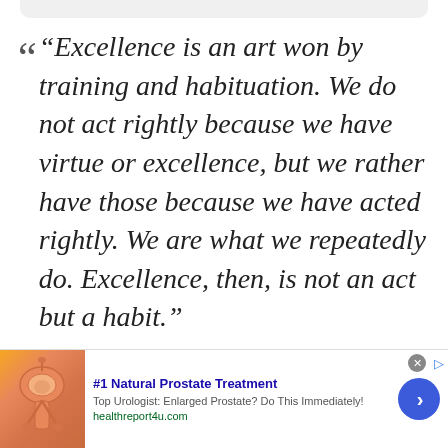“Excellence is an art won by training and habituation. We do not act rightly because we have virtue or excellence, but we rather have those because we have acted rightly. We are what we repeatedly do. Excellence, then, is not an act but a habit.”
Aristotle
[Figure (infographic): Advertisement banner with anatomical prostate illustration. Blue title: #1 Natural Prostate Treatment. Subtitle: Top Urologist: Enlarged Prostate? Do This Immediately! URL: healthreport4u.com. Blue circular arrow button on the right.]